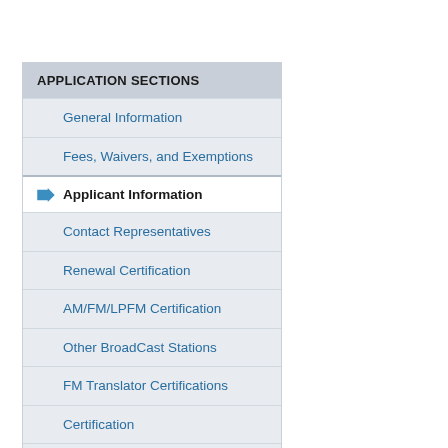APPLICATION SECTIONS
General Information
Fees, Waivers, and Exemptions
Applicant Information
Contact Representatives
Renewal Certification
AM/FM/LPFM Certification
Other BroadCast Stations
FM Translator Certifications
Certification
Attachments